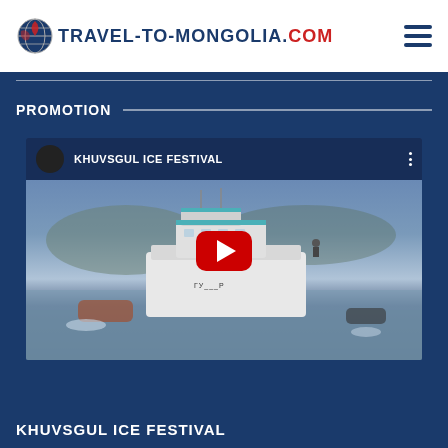TRAVEL-TO-MONGOLIA.COM
PROMOTION
[Figure (screenshot): YouTube video thumbnail for KHUVSGUL ICE FESTIVAL showing a boat/ship on icy water with a red YouTube play button overlay and video title bar at top]
KHUVSGUL ICE FESTIVAL